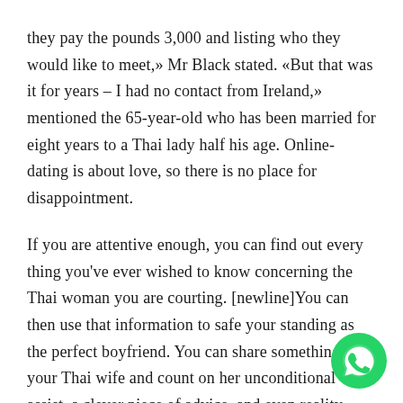they pay the pounds 3,000 and listing who they would like to meet,» Mr Black stated. «But that was it for years – I had no contact from Ireland,» mentioned the 65-year-old who has been married for eight years to a Thai lady half his age. Online-dating is about love, so there is no place for disappointment.
If you are attentive enough, you can find out every thing you've ever wished to know concerning the Thai woman you are courting. [newline]You can then use that information to safe your standing as the perfect boyfriend. You can share something with your Thai wife and count on her unconditional assist, a clever piece of advice, and even reality verify when you need it.
[Figure (illustration): WhatsApp green circular button icon in the bottom-right corner]